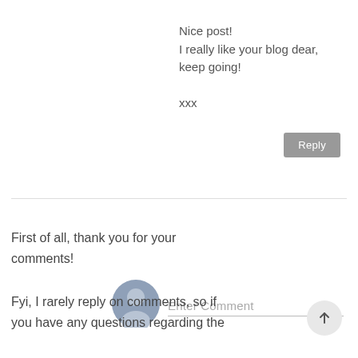Nice post!
I really like your blog dear, keep going!
xxx
[Figure (other): Reply button - grey rounded rectangle with white text 'Reply']
[Figure (other): Horizontal divider line]
[Figure (other): User avatar icon - grey circular silhouette placeholder]
Enter Comment
First of all, thank you for your comments!
Fyi, I rarely reply on comments, so if you have any questions regarding the
[Figure (other): Scroll-to-top button - grey circle with upward arrow]